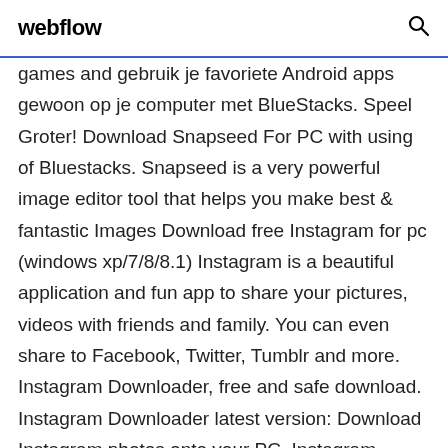webflow
games and gebruik je favoriete Android apps gewoon op je computer met BlueStacks. Speel Groter! Download Snapseed For PC with using of Bluestacks. Snapseed is a very powerful image editor tool that helps you make best & fantastic Images Download free Instagram for pc (windows xp/7/8/8.1) Instagram is a beautiful application and fun app to share your pictures, videos with friends and family. You can even share to Facebook, Twitter, Tumblr and more. Instagram Downloader, free and safe download. Instagram Downloader latest version: Download Instagram photos onto your PC. Instagram Downloader is a Windows utility that will help